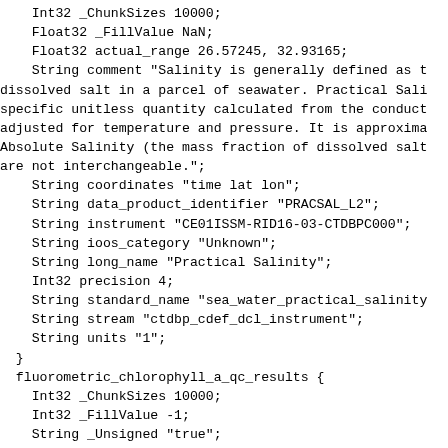Int32 _ChunkSizes 10000;
    Float32 _FillValue NaN;
    Float32 actual_range 26.57245, 32.93165;
    String comment "Salinity is generally defined as t
dissolved salt in a parcel of seawater. Practical Sali
specific unitless quantity calculated from the conduct
adjusted for temperature and pressure. It is approxima
Absolute Salinity (the mass fraction of dissolved salt
are not interchangeable.";
    String coordinates "time lat lon";
    String data_product_identifier "PRACSAL_L2";
    String instrument "CE01ISSM-RID16-03-CTDBPC000";
    String ioos_category "Unknown";
    String long_name "Practical Salinity";
    Int32 precision 4;
    String standard_name "sea_water_practical_salinity
    String stream "ctdbp_cdef_dcl_instrument";
    String units "1";
  }
  fluorometric_chlorophyll_a_qc_results {
    Int32 _ChunkSizes 10000;
    Int32 _FillValue -1;
    String _Unsigned "true";
    Int32 actual_range 5, 29;
    String coordinates "time lat lon";
    String ioos_category "Unknown";